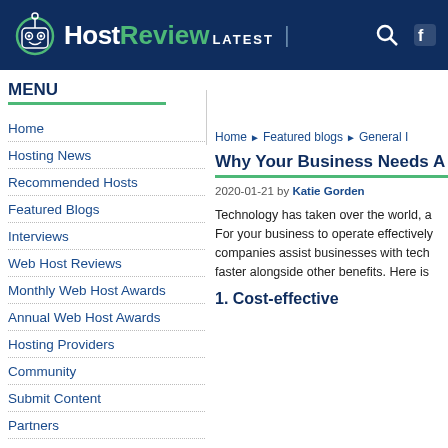HostReview LATEST
MENU
Home
Hosting News
Recommended Hosts
Featured Blogs
Interviews
Web Host Reviews
Monthly Web Host Awards
Annual Web Host Awards
Hosting Providers
Community
Submit Content
Partners
Home ▶ Featured blogs ▶ General I…
Why Your Business Needs A…
2020-01-21 by Katie Gorden
Technology has taken over the world, a… For your business to operate effectively… companies assist businesses with tech… faster alongside other benefits. Here is
1. Cost-effective